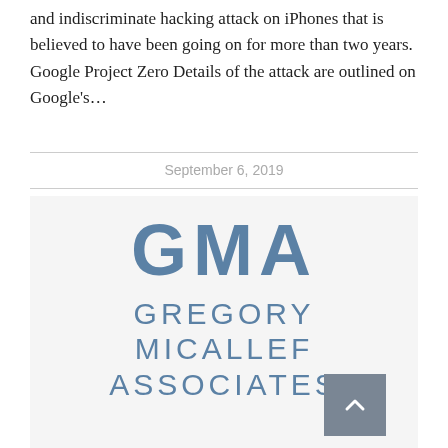and indiscriminate hacking attack on iPhones that is believed to have been going on for more than two years. Google Project Zero Details of the attack are outlined on Google's...
September 6, 2019
[Figure (logo): GMA Gregory Micallef Associates logo in steel blue on light grey background]